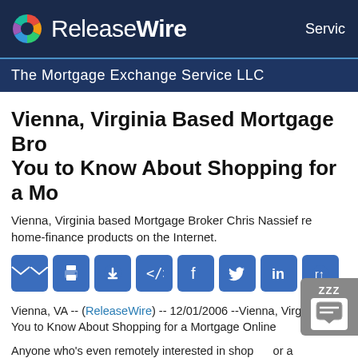ReleaseWire — Services
The Mortgage Exchange Service LLC
Vienna, Virginia Based Mortgage Broker Wants You to Know About Shopping for a Mortgage Online
Vienna, Virginia based Mortgage Broker Chris Nassief releases home-finance products on the Internet.
[Figure (infographic): Social share buttons: email, print, download, embed code, Facebook, Twitter, LinkedIn, Reddit]
Vienna, VA -- (ReleaseWire) -- 12/01/2006 --Vienna, Virginia Based Mortgage Broker Wants You to Know About Shopping for a Mortgage Online
Anyone who's even remotely interested in shopping for a mortgage has seen the commercials on TV touting the ease of using any of a variety of Internet-based lenders. You may even have tried a few of them...